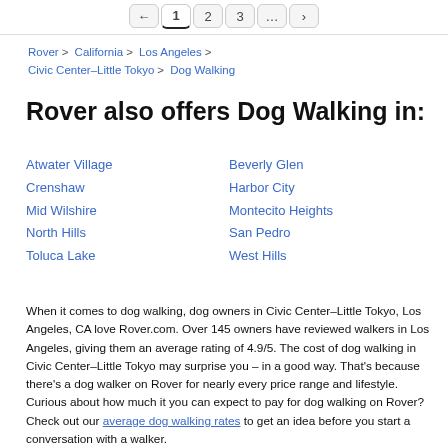← 1 2 3 … →
Rover > California > Los Angeles > Civic Center–Little Tokyo > Dog Walking
Rover also offers Dog Walking in:
Atwater Village
Beverly Glen
Crenshaw
Harbor City
Mid Wilshire
Montecito Heights
North Hills
San Pedro
Toluca Lake
West Hills
When it comes to dog walking, dog owners in Civic Center–Little Tokyo, Los Angeles, CA love Rover.com. Over 145 owners have reviewed walkers in Los Angeles, giving them an average rating of 4.9/5. The cost of dog walking in Civic Center–Little Tokyo may surprise you – in a good way. That's because there's a dog walker on Rover for nearly every price range and lifestyle. Curious about how much it you can expect to pay for dog walking on Rover? Check out our average dog walking rates to get an idea before you start a conversation with a walker.